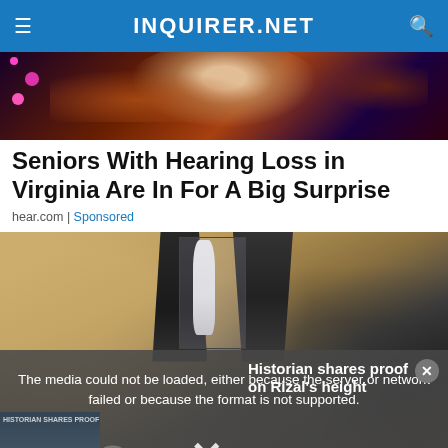INQUIRER.NET
[Figure (photo): Space/nebula background with planet or celestial body at top — advertisement banner image]
Seniors With Hearing Loss in Virginia Are In For A Big Surprise
hear.com | Sponsored
[Figure (photo): Close-up of a dark lantern or outdoor wall sconce mounted on a textured stucco wall]
The media could not be loaded, either because the server or network failed or because the format is not supported.
Historian shares proof on Rizal's height